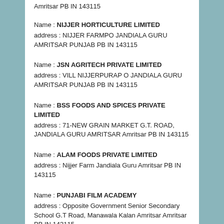Amritsar PB IN 143115
Name : NIJJER HORTICULTURE LIMITED
address : NIJJER FARMPO JANDIALA GURU AMRITSAR PUNJAB PB IN 143115
Name : JSN AGRITECH PRIVATE LIMITED
address : VILL NIJJERPURAP O JANDIALA GURU AMRITSAR PUNJAB PB IN 143115
Name : BSS FOODS AND SPICES PRIVATE LIMITED
address : 71-NEW GRAIN MARKET G.T. ROAD, JANDIALA GURU AMRITSAR Amritsar PB IN 143115
Name : ALAM FOODS PRIVATE LIMITED
address : Nijjer Farm Jandiala Guru Amritsar PB IN 143115
Name : PUNJABI FILM ACADEMY
address : Opposite Government Senior Secondary School G.T Road, Manawala Kalan Amritsar Amritsar PB IN 143115